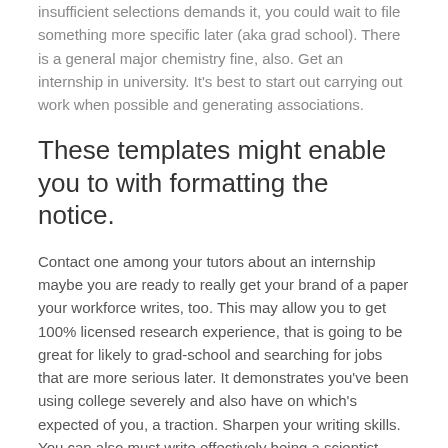insufficient selections demands it, you could wait to file something more specific later (aka grad school). There is a general major chemistry fine, also. Get an internship in university. It's best to start out carrying out work when possible and generating associations.
These templates might enable you to with formatting the notice.
Contact one among your tutors about an internship maybe you are ready to really get your brand of a paper your workforce writes, too. This may allow you to get 100% licensed research experience, that is going to be great for likely to grad-school and searching for jobs that are more serious later. It demonstrates you've been using college severely and also have on which's expected of you, a traction. Sharpen your writing skills. You can also must write effectively being a scientist, equally to obtain scholarships for your study and to submit your leads to scientific periodicals. Sessions in technical-writing in college and Language in school that is high will allow you to polish your skills. Always be keeping up with the industry and reading scientific periodicals.